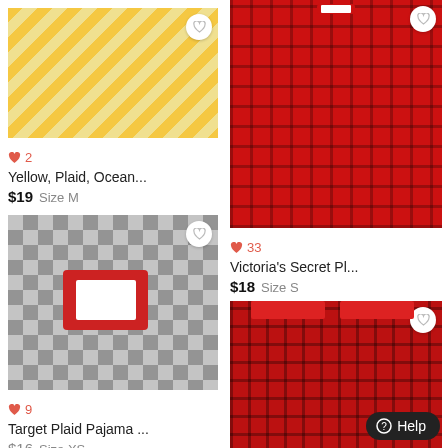[Figure (photo): Yellow polka dot / plaid patterned shorts worn by a person, against a white brick wall background]
♥ 2
Yellow, Plaid, Ocean...
$19  Size M
[Figure (photo): Red and black plaid Victoria's Secret two-piece pajama set (long sleeve top and shorts) laid flat]
♥ 33
Victoria's Secret Pl...
$18  Size S
[Figure (photo): Black and white buffalo plaid Target pajama set in drawstring bag with red tag]
♥ 9
Target Plaid Pajama ...
$16  Size XS
[Figure (photo): Red and black plaid pajama pants laid on a wood floor]
♥ 13